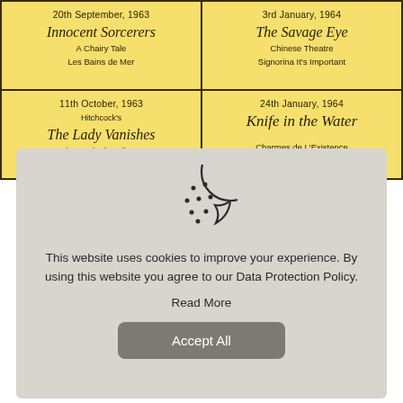| 20th September, 1963
Innocent Sorcerers
A Chairy Tale
Les Bains de Mer | 3rd January, 1964
The Savage Eye
Chinese Theatre
Signorina It's Important |
| 11th October, 1963
Hitchcock's
The Lady Vanishes
Stars Who Made the Silent Screen | 24th January, 1964
Knife in the Water
Charmes de L'Existence |
[Figure (illustration): Cookie icon: a circular cookie with a bite taken out of the upper right, with several small dots representing chocolate chips, drawn in outline style]
This website uses cookies to improve your experience. By using this website you agree to our Data Protection Policy.
Read More
Accept All